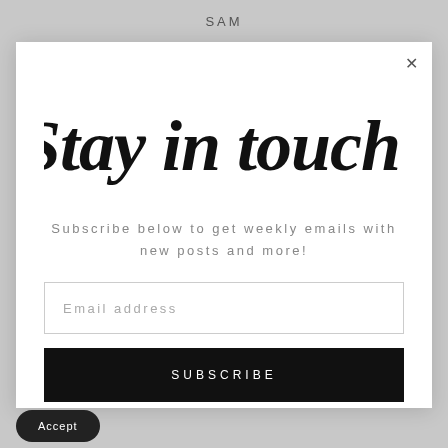SAM
[Figure (screenshot): Modal popup overlay with close button (×) in top right corner]
Stay in touch!
Subscribe below to get weekly emails with new posts and more!
Email address
SUBSCRIBE